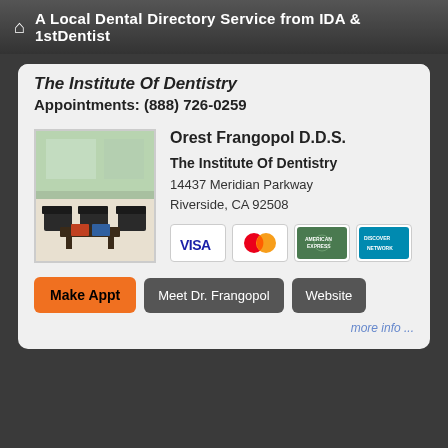A Local Dental Directory Service from IDA & 1stDentist
The Institute Of Dentistry
Appointments: (888) 726-0259
[Figure (photo): Interior photo of dental office waiting room with chairs and tables]
Orest Frangopol D.D.S.
The Institute Of Dentistry
14437 Meridian Parkway
Riverside, CA 92508
[Figure (other): Payment method icons: VISA, MasterCard, American Express, Discover]
Make Appt    Meet Dr. Frangopol    Website
more info ...